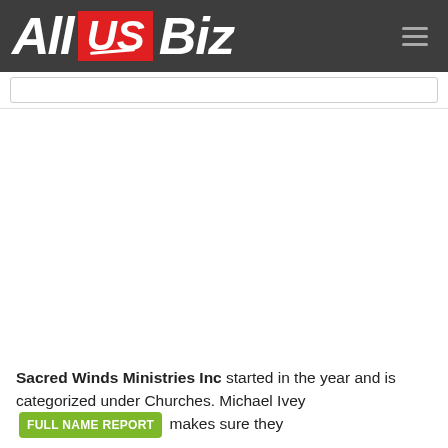All US Biz
Sacred Winds Ministries Inc started in the year and is categorized under Churches. Michael Ivey FULL NAME REPORT makes sure they